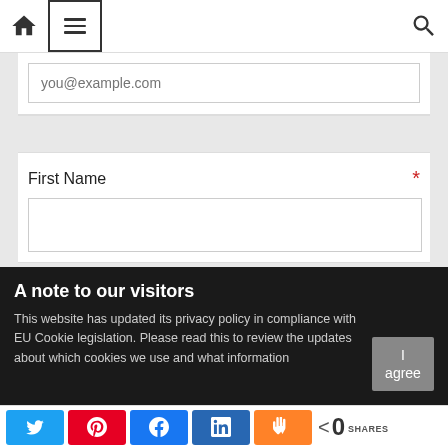[Figure (screenshot): Navigation bar with home icon, hamburger menu box, and search icon]
you@example.com
First Name *
Subscribe
A note to our visitors
This website has updated its privacy policy in compliance with EU Cookie legislation. Please read this to review the updates about which cookies we use and what information
I agree
< 0 SHARES